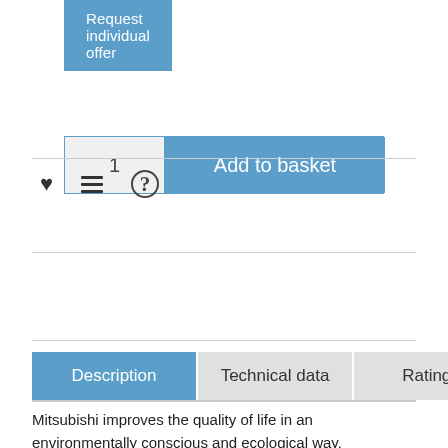Request individual offer
1   Add to basket
[Figure (other): Heart, list, and question mark icons row]
Description   Technical data   Ratings
Mitsubishi improves the quality of life in an environmentally conscious and ecological way.
Mitsubishi strives to reduce energy costs and protect the environment with high-quality and energy-efficient air conditioning solutions. Great energy savings can be achieved during the